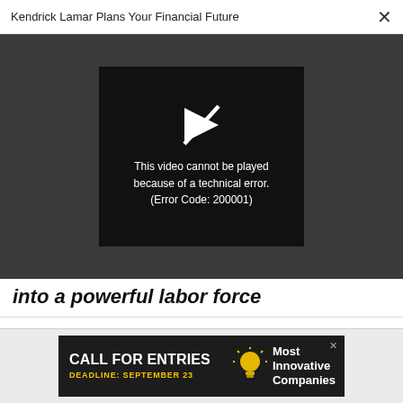Kendrick Lamar Plans Your Financial Future
[Figure (screenshot): Video player error screen showing a play icon crossed out and message: 'This video cannot be played because of a technical error. (Error Code: 200001)']
into a powerful labor force
FAST COMPANY MAGAZINE
Whistleblower protections are spreading across the country, sparked by Ifeoma Ozoma
[Figure (infographic): Advertisement banner: CALL FOR ENTRIES, DEADLINE: SEPTEMBER 23, Most Innovative Companies]